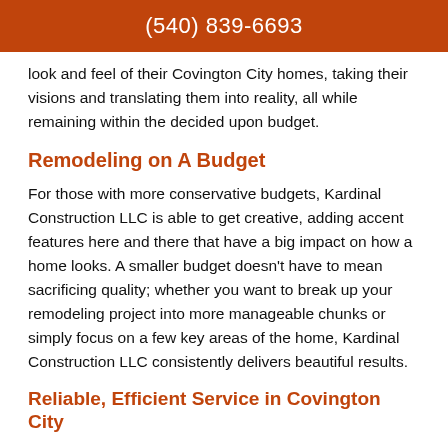(540) 839-6693
look and feel of their Covington City homes, taking their visions and translating them into reality, all while remaining within the decided upon budget.
Remodeling on A Budget
For those with more conservative budgets, Kardinal Construction LLC is able to get creative, adding accent features here and there that have a big impact on how a home looks. A smaller budget doesn’t have to mean sacrificing quality; whether you want to break up your remodeling project into more manageable chunks or simply focus on a few key areas of the home, Kardinal Construction LLC consistently delivers beautiful results.
Reliable, Efficient Service in Covington City